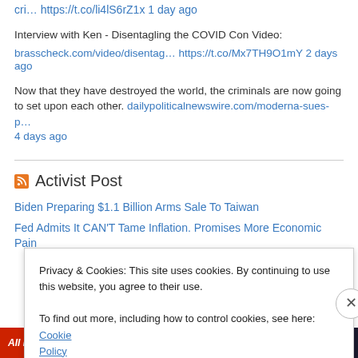cri… https://t.co/li4lS6rZ1x 1 day ago
Interview with Ken - Disentagling the COVID Con Video:
brasscheck.com/video/disentag… https://t.co/Mx7TH9O1mY 2 days ago
Now that they have destroyed the world, the criminals are now going to set upon each other. dailypoliticalnewswire.com/moderna-sues-p… 4 days ago
Activist Post
Biden Preparing $1.1 Billion Arms Sale To Taiwan
Fed Admits It CAN'T Tame Inflation. Promises More Economic Pain
Privacy & Cookies: This site uses cookies. By continuing to use this website, you agree to their use.
To find out more, including how to control cookies, see here: Cookie Policy
Close and accept